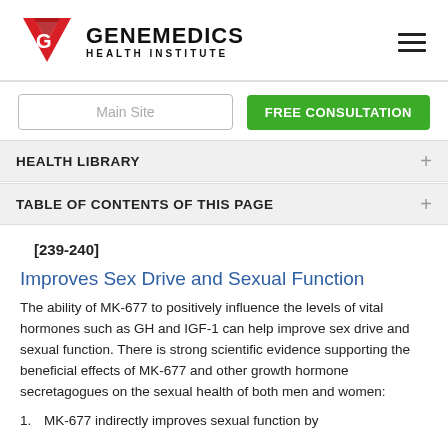[Figure (logo): Genemedics Health Institute logo with red G chevron/triangle icon and bold black text]
HEALTH LIBRARY
TABLE OF CONTENTS OF THIS PAGE
[239-240]
Improves Sex Drive and Sexual Function
The ability of MK-677 to positively influence the levels of vital hormones such as GH and IGF-1 can help improve sex drive and sexual function. There is strong scientific evidence supporting the beneficial effects of MK-677 and other growth hormone secretagogues on the sexual health of both men and women:
1. MK-677 indirectly improves sexual function by